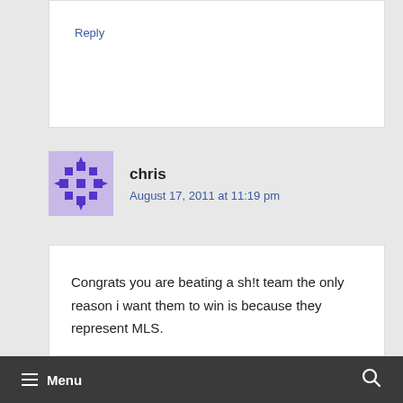Wow where have you been.
Reply
chris
August 17, 2011 at 11:19 pm
Congrats you are beating a sh!t team the only reason i want them to win is because they represent MLS.
Menu